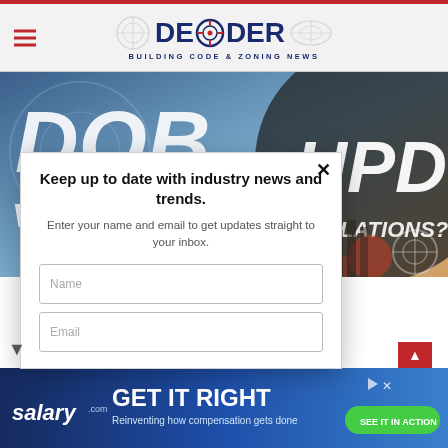[Figure (screenshot): Decoder Building Code & Zoning News website screenshot with DOB and HPD Violations hero image, email signup popup, and salary.com advertisement banner]
DECODER — BUILDING CODE & ZONING NEWS
DOB VIOLATIONS? HPD VIOLATIONS?
Keep up to date with industry news and trends.
Enter your name and email to get updates straight to your inbox.
Name
Email
GET IT RIGHT
Reinventing how compensation gets done
SEE IT IN ACTION